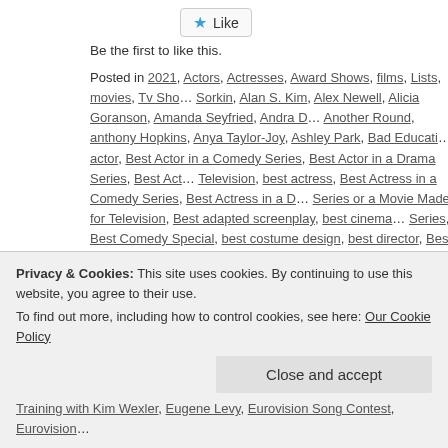[Figure (other): Like button with star icon]
Be the first to like this.
Posted in 2021, Actors, Actresses, Award Shows, films, Lists, movies, Tv Sho... Sorkin, Alan S. Kim, Alex Newell, Alicia Goranson, Amanda Seyfried, Andra D... Another Round, anthony Hopkins, Anya Taylor-Joy, Ashley Park, Bad Educati... actor, Best Actor in a Comedy Series, Best Actor in a Drama Series, Best Act... Television, best actress, Best Actress in a Comedy Series, Best Actress in a D... Series or a Movie Made for Television, Best adapted screenplay, best cinema... Series, Best Comedy Special, best costume design, best director, Best Dram... language film, BEST HAIR AND MAKEUP, BEST LIMITED SERIES, Best Mo... screenplay, best picture, best production design, best score, Best Short Form... Best Supporting Actor in a Comedy Series, Best Supporting Actor in a Drama... Series or a Movie Made for Television, best supporting actress, Best Support... Supporting Actress in a Drama Series, Best Supporting Actress in a Limited S... Talk Show, best visual effects, Best Young Actor/Actress, Betsy Brandt, Bette... with Kim Wexler, Better Things, Between the World and Me, Bill Murray, Black...
Moviefilm, Borat Subsequent Moviefilm: Delivery of Prodigious Bribe to Amer...
Privacy & Cookies: This site uses cookies. By continuing to use this website, you agree to their use. To find out more, including how to control cookies, see here: Our Cookie Policy
Close and accept
Training with Kim Wexler, Eugene Levy, Eurovision Song Contest, Eurovision...